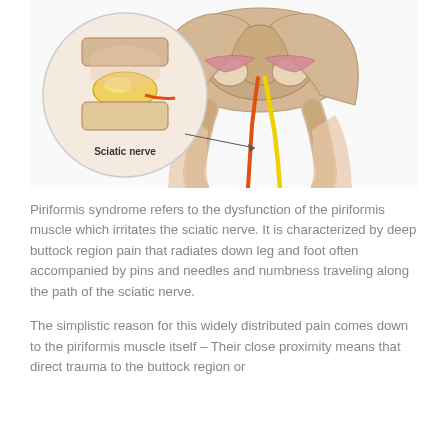[Figure (illustration): Medical illustration of the pelvis and upper thighs showing the sciatic nerve pathway. Includes a circular inset zooming in on the sciatic nerve (labeled 'Sciatic nerve' with an arrow) being compressed, with the nerve shown in yellow and orange running down from the pelvis between the femurs.]
Piriformis syndrome refers to the dysfunction of the piriformis muscle which irritates the sciatic nerve. It is characterized by deep buttock region pain that radiates down leg and foot often accompanied by pins and needles and numbness traveling along the path of the sciatic nerve.
The simplistic reason for this widely distributed pain comes down to the piriformis muscle itself – Their close proximity means that direct trauma to the buttock region or